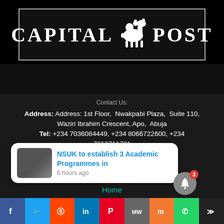[Figure (logo): Capital Post logo with white camel silhouette between 'CAPITAL' and 'POST' text on black background with grey border]
Contact Us:
Address: Address: 1st Floor, Nwakpabi Plaza, Suite 110, Waziri Ibrahim Crescent, Apo, Abuja
Tel: +234 7036084449, +234 8066722600, +234 7012711701
Email: info@capitalpost.ng
Email: capitalpost20@gmail.com
Quick Links:
Home
Contact us
NSUK to establish 3 Academic Programmes in
6 hours ago
x
d. g Company